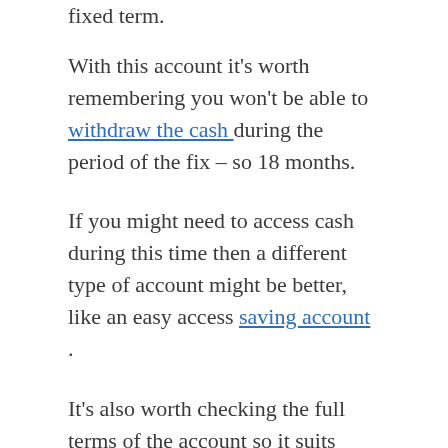fixed term.
With this account it’s worth remembering you won’t be able to withdraw the cash during the period of the fix – so 18 months.
If you might need to access cash during this time then a different type of account might be better, like an easy access saving account .
It’s also worth checking the full terms of the account so it suits your needs.
David Leek, commercial director at Teachers Building Society, said: “Our new 18 month fixed rate cash ISA provides a tax-free, top of market